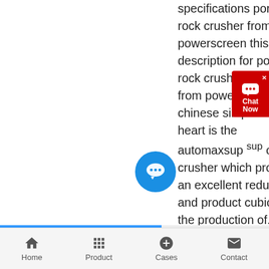specifications por le rock crusher from powerscreen this is a description for por le rock crusher available from powerscreen chinese simplified at its heart is the automaxsup sup cone crusher which provides an excellent reduction and product cubicity for the production of.
get price
[Figure (other): Chat Now widget — red rounded rectangle with chat bubble icon and 'Chat Now' text]
[Figure (other): Circular blue chat bubble button]
Home   Product   Cases   Contact